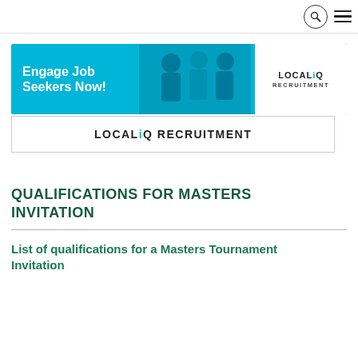Navigation bar with search and menu icons
[Figure (illustration): LOCALiQ Recruitment advertisement banner: blue background with white bold text 'Engage Job Seekers Now!' and people silhouettes, with LOCALiQ RECRUITMENT logo on white panel on the right]
[Figure (illustration): Partial LOCALiQ RECRUITMENT banner, white background with bold text, partially visible]
QUALIFICATIONS FOR MASTERS INVITATION
List of qualifications for a Masters Tournament Invitation